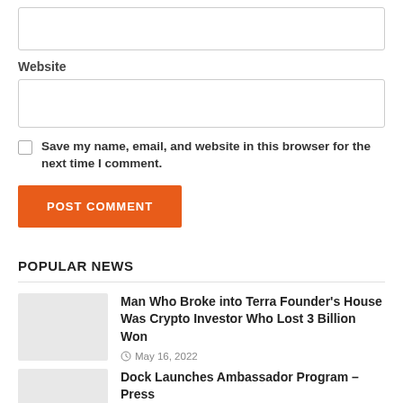(input box — top)
Website
(Website input box)
Save my name, email, and website in this browser for the next time I comment.
POST COMMENT
POPULAR NEWS
Man Who Broke into Terra Founder's House Was Crypto Investor Who Lost 3 Billion Won
May 16, 2022
Dock Launches Ambassador Program – Press